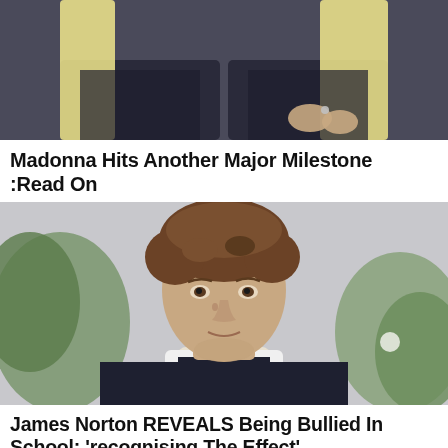[Figure (photo): Partial photo of a person with long blonde hair wearing a dark patterned jacket, showing torso and hands]
Madonna Hits Another Major Milestone :Read On
[Figure (photo): Portrait photo of James Norton, a young man with curly brown hair wearing a dark clergy vest over a white clerical collar shirt, standing outdoors with greenery in background]
James Norton REVEALS Being Bullied In School: ‘recognising The Effect’